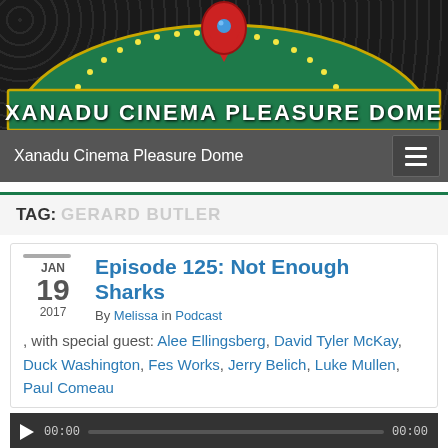[Figure (logo): Xanadu Cinema Pleasure Dome logo with green arch, decorative marquee lights, red location pin icon, and white bold text on green background]
Xanadu Cinema Pleasure Dome
TAG: GERARD BUTLER
Episode 125: Not Enough Sharks
By Melissa in Podcast
, with special guest: Alee Ellingsberg, David Tyler McKay, Duck Washington, Fes Works, Jerry Belich, Luke Mullen, Paul Comeau
[Figure (screenshot): Audio player bar with play button, time display 00:00, progress bar, and end time 00:00]